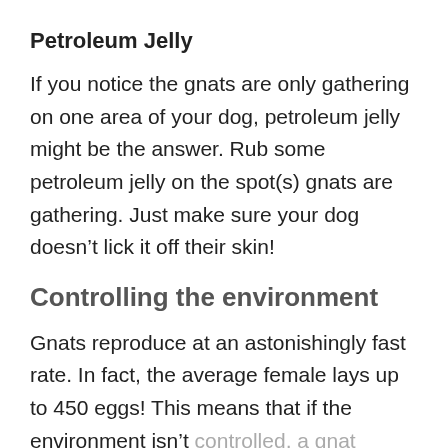Petroleum Jelly
If you notice the gnats are only gathering on one area of your dog, petroleum jelly might be the answer. Rub some petroleum jelly on the spot(s) gnats are gathering. Just make sure your dog doesn’t lick it off their skin!
Controlling the environment
Gnats reproduce at an astonishingly fast rate. In fact, the average female lays up to 450 eggs! This means that if the environment isn’t controlled, a gnat infestation can be a huge problem.